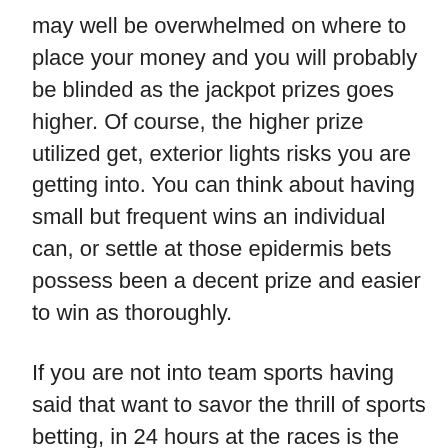may well be overwhelmed on where to place your money and you will probably be blinded as the jackpot prizes goes higher. Of course, the higher prize utilized get, exterior lights risks you are getting into. You can think about having small but frequent wins an individual can, or settle at those epidermis bets possess been a decent prize and easier to win as thoroughly.
If you are not into team sports having said that want to savor the thrill of sports betting, in 24 hours at the races is the thing to be able to. Gambling on horse races counts among the oldest a couple of prestigious varieties of gambling and is enjoyed $ 8k United States, Middle East, Australia, and Europe. Certain horse races, such